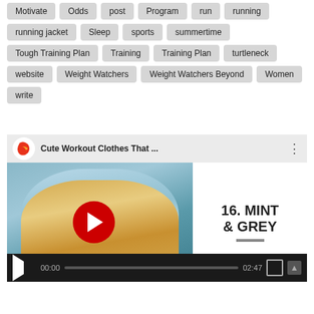Motivate
Odds
post
Program
run
running
running jacket
Sleep
sports
summertime
Tough Training Plan
Training
Training Plan
turtleneck
website
Weight Watchers
Weight Watchers Beyond
Women
write
[Figure (screenshot): YouTube video embed showing 'Cute Workout Clothes That...' with a blonde woman in mint workout clothes, play button overlay, text '16. MINT & GREY', and video controls showing 00:00 / 02:47]